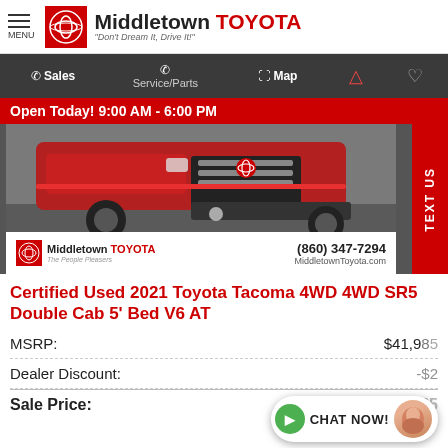Middletown TOYOTA — "Don't Dream It, Drive It!"
Sales | Service/Parts | Map
Open Today! 9:00 AM - 6:00 PM
[Figure (photo): Front view of a red 2021 Toyota Tacoma truck, close-up of the grille and front bumper. Dealer watermark at the bottom shows Middletown Toyota logo, phone (860) 347-7294, and MiddletownToyota.com. A red 'TEXT US' tab is on the right side.]
Certified Used 2021 Toyota Tacoma 4WD 4WD SR5 Double Cab 5' Bed V6 AT
MSRP:  $41,985
Dealer Discount:  -$2
Sale Price:  $39,985